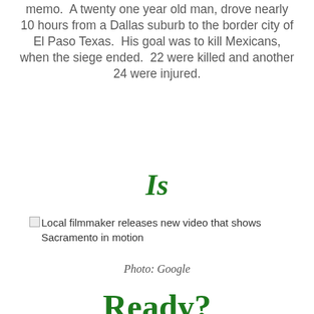memo.  A twenty one year old man, drove nearly 10 hours from a Dallas suburb to the border city of El Paso Texas.  His goal was to kill Mexicans, when the siege ended.  22 were killed and another 24 were injured.
Is
[Figure (photo): Broken image placeholder with caption: Local filmmaker releases new video that shows Sacramento in motion]
Photo: Google
Ready?
What happened in El Paso and Dayton could happen anywhere, including Sacramento